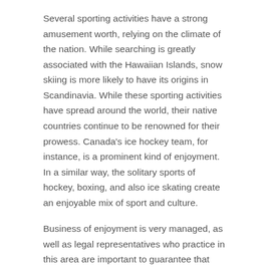Several sporting activities have a strong amusement worth, relying on the climate of the nation. While searching is greatly associated with the Hawaiian Islands, snow skiing is more likely to have its origins in Scandinavia. While these sporting activities have spread around the world, their native countries continue to be renowned for their prowess. Canada's ice hockey team, for instance, is a prominent kind of enjoyment. In a similar way, the solitary sports of hockey, boxing, and also ice skating create an enjoyable mix of sport and culture.
Business of enjoyment is very managed, as well as legal representatives who practice in this area are important to guarantee that lawful needs are satisfied. The Federal Communications Commission, as an example, has developed various regulations targeted